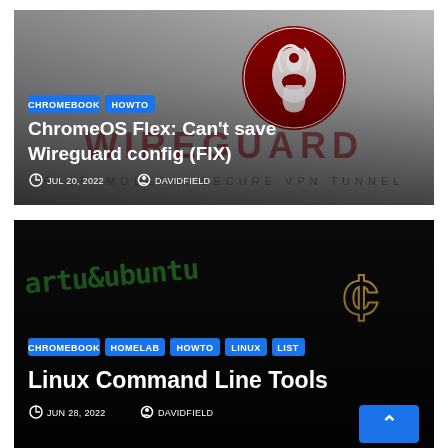[Figure (screenshot): Blog card for 'ChromeOS Flex: Can't save Wireguard config (FIX)' with WireGuard logo background (dark red circle with dragon, gray gradient, WIREGUARD text). Tags: CHROMEBOOK, HOWTO. Date: JUL 20, 2022. Author: DAVIDFIELD.]
[Figure (screenshot): Blog card for 'Linux Command Line Tools' with dark/black background showing green Ubuntu terminal text and a dollar-sign outline. Tags: CHROMEBOOK, HOMELAB, HOWTO, LINUX, LIST. Date: JUN 28, 2022. Author: DAVIDFIELD.]